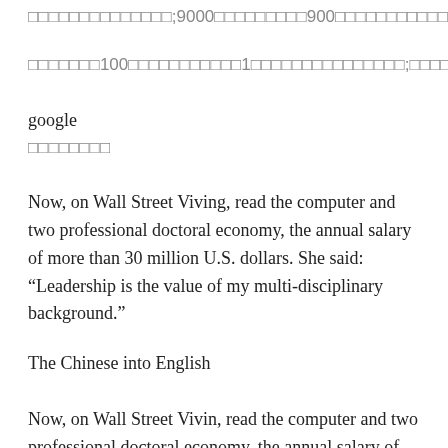□□□□□□□□□□□□□□;9000□□□□□□□□□900□□□□□□□□□□□□□□□□□□
□□□□□□□100□□□□□□□□□□□1□□□□□□□□□□□□□□□;□□□□□□□□□□□□□□□□□□□□□□□□□□□□□□□□□;□□□□□□□□□□□□□□□□□□□□□□□□□□□□□□□□□□□□□□
google
□□□□□□□□
Now, on Wall Street Viving, read the computer and two professional doctoral economy, the annual salary of more than 30 million U.S. dollars. She said: “Leadership is the value of my multi-disciplinary background.”
The Chinese into English
Now, on Wall Street Vivin, read the computer and two professional doctoral economy, the annual salary of more